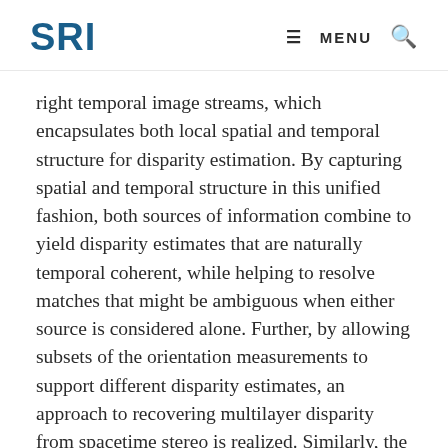SRI   MENU
right temporal image streams, which encapsulates both local spatial and temporal structure for disparity estimation. By capturing spatial and temporal structure in this unified fashion, both sources of information combine to yield disparity estimates that are naturally temporal coherent, while helping to resolve matches that might be ambiguous when either source is considered alone. Further, by allowing subsets of the orientation measurements to support different disparity estimates, an approach to recovering multilayer disparity from spacetime stereo is realized. Similarly, the matched distributions allow for direct